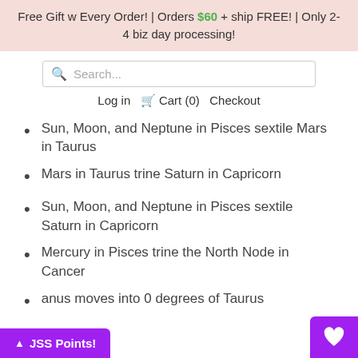Free Gift w Every Order! | Orders $60 + ship FREE! | Only 2-4 biz day processing!
Search...
Log in  Cart (0)  Checkout
Sun, Moon, and Neptune in Pisces sextile Mars in Taurus
Mars in Taurus trine Saturn in Capricorn
Sun, Moon, and Neptune in Pisces sextile Saturn in Capricorn
Mercury in Pisces trine the North Node in Cancer
…anus moves into 0 degrees of Taurus
JSS Points!
[Figure (other): Heart/wishlist button in purple]